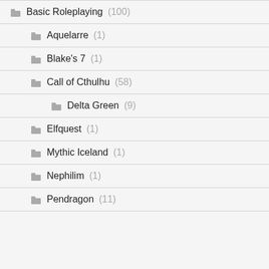Basic Roleplaying (100)
Aquelarre (1)
Blake's 7 (1)
Call of Cthulhu (58)
Delta Green (9)
Elfquest (1)
Mythic Iceland (1)
Nephilim (1)
Pendragon (11)